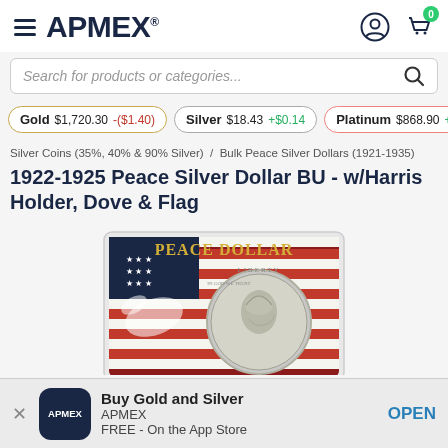APMEX
Search for products or categories...
Gold $1,720.30 -($1.40)  Silver $18.43 +$0.14  Platinum $868.90 +$12...
Silver Coins (35%, 40% & 90% Silver) / Bulk Peace Silver Dollars (1921-1935)
1922-1925 Peace Silver Dollar BU - w/Harris Holder, Dove & Flag
[Figure (photo): Product photo of a Peace Silver Dollar in a Harris Holder with a Dove and American Flag background. The holder is labeled PEACE DOLLAR in golden text at the top.]
Buy Gold and Silver
APMEX
FREE - On the App Store
OPEN